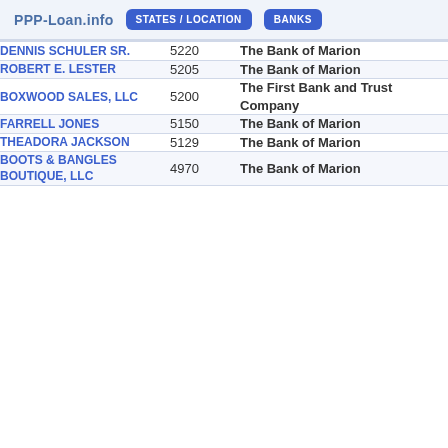PPP-Loan.info  STATES / LOCATION  BANKS
| Name | Amount | Bank |
| --- | --- | --- |
| DENNIS SCHULER SR. | 5220 | The Bank of Marion |
| ROBERT E. LESTER | 5205 | The Bank of Marion |
| BOXWOOD SALES, LLC | 5200 | The First Bank and Trust Company |
| FARRELL JONES | 5150 | The Bank of Marion |
| THEADORA JACKSON | 5129 | The Bank of Marion |
| BOOTS & BANGLES BOUTIQUE, LLC | 4970 | The Bank of Marion |